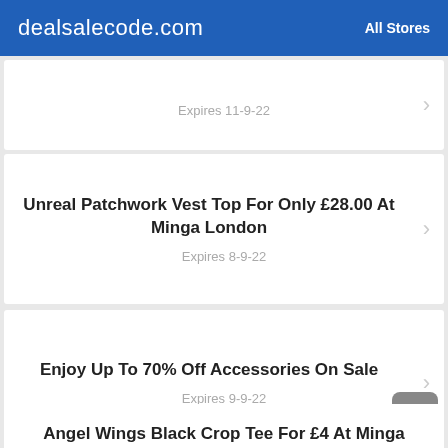dealsalecode.com  All Stores
Expires 11-9-22
Unreal Patchwork Vest Top For Only £28.00 At Minga London
Expires 8-9-22
Enjoy Up To 70% Off Accessories On Sale
Expires 9-9-22
Angel Wings Black Crop Tee For £4 At Minga